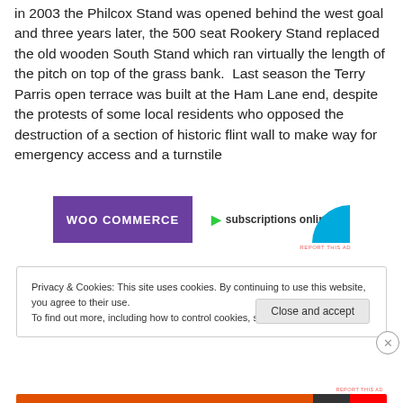in 2003 the Philcox Stand was opened behind the west goal and three years later, the 500 seat Rookery Stand replaced the old wooden South Stand which ran virtually the length of the pitch on top of the grass bank.  Last season the Terry Parris open terrace was built at the Ham Lane end, despite the protests of some local residents who opposed the destruction of a section of historic flint wall to make way for emergency access and a turnstile
[Figure (other): WooCommerce advertisement banner with purple left panel showing 'WOO COMMERCE' text, green arrow, and 'subscriptions online' text on white right panel with blue arc decoration]
REPORT THIS AD
Privacy & Cookies: This site uses cookies. By continuing to use this website, you agree to their use.
To find out more, including how to control cookies, see here: Cookie Policy
Close and accept